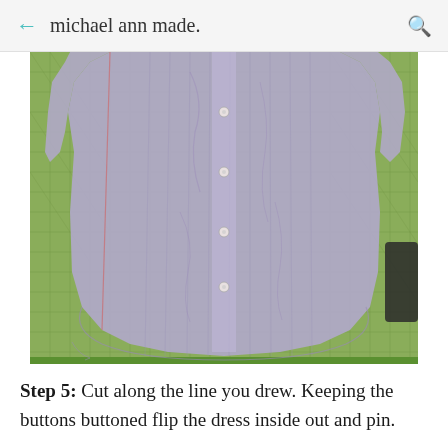michael ann made.
[Figure (photo): A men's button-down striped shirt (lavender/gray) laid flat on a green cutting mat, viewed from the front showing the button placket and the bottom curved hem of the shirt.]
Step 5: Cut along the line you drew. Keeping the buttons buttoned flip the dress inside out and pin.